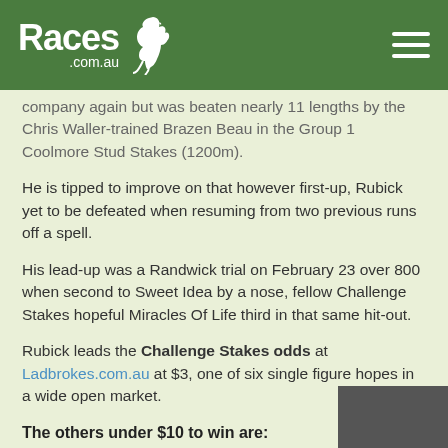Races.com.au
company again but was beaten nearly 11 lengths by the Chris Waller-trained Brazen Beau in the Group 1 Coolmore Stud Stakes (1200m).
He is tipped to improve on that however first-up, Rubick yet to be defeated when resuming from two previous runs off a spell.
His lead-up was a Randwick trial on February 23 over 800 when second to Sweet Idea by a nose, fellow Challenge Stakes hopeful Miracles Of Life third in that same hit-out.
Rubick leads the Challenge Stakes odds at Ladbrokes.com.au at $3, one of six single figure hopes in a wide open market.
The others under $10 to win are: